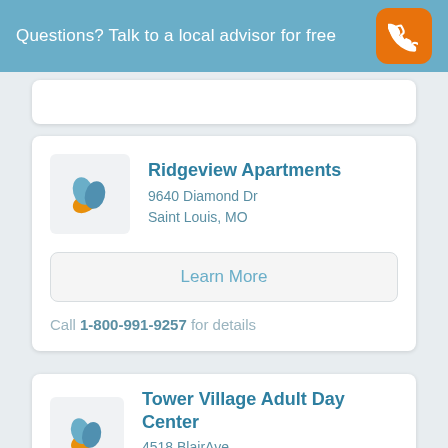Questions? Talk to a local advisor for free
Ridgeview Apartments
9640 Diamond Dr
Saint Louis, MO
Learn More
Call 1-800-991-9257 for details
Tower Village Adult Day Center
4518 BlairAve
Saint Louis, MO